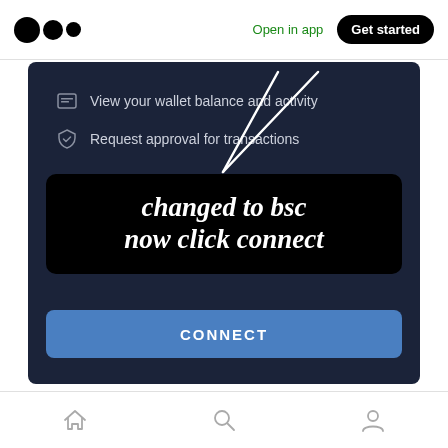Medium logo | Open in app | Get started
[Figure (screenshot): Mobile app screenshot showing a dark blue wallet connection UI with text 'View your wallet balance and activity', 'Request approval for transactions', a black box with italic bold text 'changed to bsc now click connect', and a blue CONNECT button. A white arrow annotation points to the network selector.]
Home | Search | Profile icons